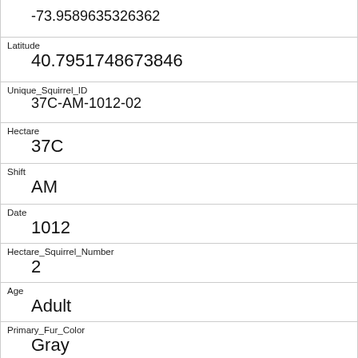| -73.9589635326362 |
| Latitude | 40.7951748673846 |
| Unique_Squirrel_ID | 37C-AM-1012-02 |
| Hectare | 37C |
| Shift | AM |
| Date | 1012 |
| Hectare_Squirrel_Number | 2 |
| Age | Adult |
| Primary_Fur_Color | Gray |
| Highlight_Fur_Color | Cinnamon |
| Combination_of_Primary_and_Highlight_Color |  |